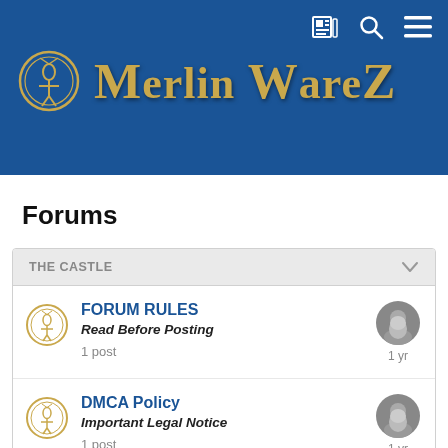Merlin Warez
Forums
THE CASTLE
FORUM RULES
Read Before Posting
1 post
1 yr
DMCA Policy
Important Legal Notice
1 post
1 yr
THE HELP DESK